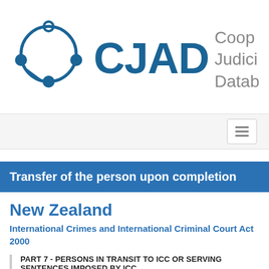[Figure (logo): CJAD logo with circular network icon and text 'CJAD' and 'Cooperative Judicial Database']
Transfer of the person upon completion
New Zealand
International Crimes and International Criminal Court Act 2000
PART 7 - PERSONS IN TRANSIT TO ICC OR SERVING SENTENCES IMPOSED BY ICC
Enforcement of sentences in New Zealand